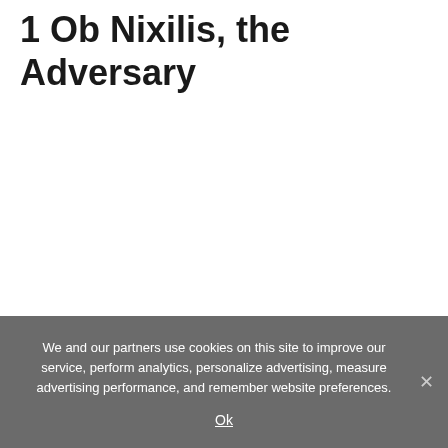1 Ob Nixilis, the Adversary
We and our partners use cookies on this site to improve our service, perform analytics, personalize advertising, measure advertising performance, and remember website preferences.
Ok